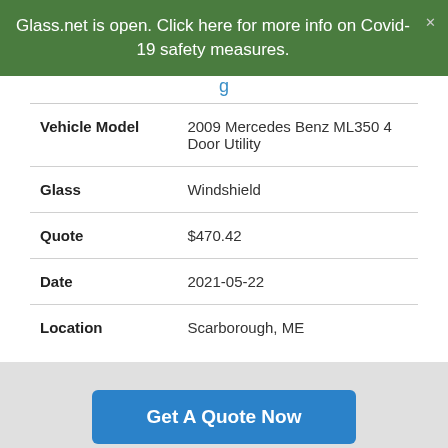Glass.net is open. Click here for more info on Covid-19 safety measures.
| Field | Value |
| --- | --- |
| Vehicle Model | 2009 Mercedes Benz ML350 4 Door Utility |
| Glass | Windshield |
| Quote | $470.42 |
| Date | 2021-05-22 |
| Location | Scarborough, ME |
Get A Quote Now
We use cookies to enhance your experience. Cookie settings